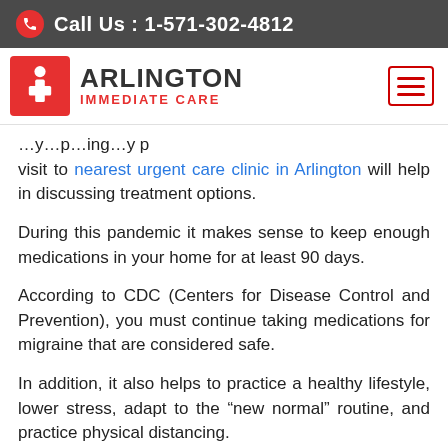Call Us : 1-571-302-4812
[Figure (logo): Arlington Immediate Care logo with red icon and hamburger menu button]
...visit to nearest urgent care clinic in Arlington will help in discussing treatment options.
During this pandemic it makes sense to keep enough medications in your home for at least 90 days.
According to CDC (Centers for Disease Control and Prevention), you must continue taking medications for migraine that are considered safe.
In addition, it also helps to practice a healthy lifestyle, lower stress, adapt to the “new normal” routine, and practice physical distancing.
If you still have questions and concerns, you may visit